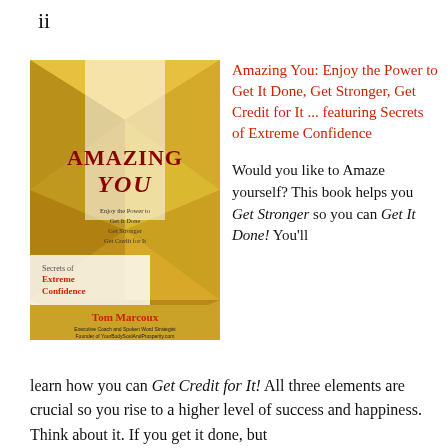ii
[Figure (illustration): Book cover of 'Amazing You' by Tom Marcoux. Gold geometric background. Title 'AMAZING YOU' in dark red serif font. Subtitle: 'Enjoy the Power to Get It Done, Get Stronger, Get Credit for It'. Section: 'Secrets of Extreme Confidence'. Author: Tom Marcoux, Executive Coach and Spoken Word Strategist, Founder of YourBodySoulAndProsperity.com, visitors from all countries.]
Amazing You: Enjoy the Power to Get It Done, Get Stronger, Get Credit for It ... featuring Secrets of Extreme Confidence
Would you like to Amaze yourself? This book helps you Get Stronger so you can Get It Done! You'll learn how you can Get Credit for It! All three elements are crucial so you rise to a higher level of success and happiness. Think about it. If you get it done, but